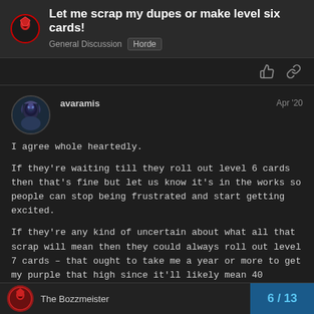Let me scrap my dupes or make level six cards! — General Discussion / Horde
avaramis — Apr '20
I agree whole heartedly.

If they're waiting till they roll out level 6 cards then that's fine but let us know it's in the works so people can stop being frustrated and start getting excited.

If they're any kind of uncertain about what all that scrap will mean then they could always roll out level 7 cards – that ought to take me a year or more to get my purple that high since it'll likely mean 40 cards/24,000 scrap
The Bozzmeister — 6 / 13